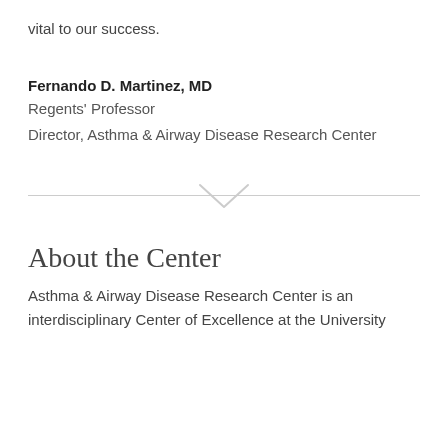vital to our success.
Fernando D. Martinez, MD
Regents' Professor
Director, Asthma & Airway Disease Research Center
[Figure (illustration): Horizontal divider line with a downward-pointing chevron/arrow in the center]
About the Center
Asthma & Airway Disease Research Center is an interdisciplinary Center of Excellence at the University